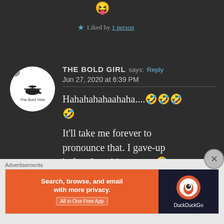[Figure (illustration): Emoji face icon at the top]
★ Liked by 1 person
[Figure (illustration): Circular avatar with helicopter logo for The Bold Vibe blog]
THE BOLD GIRL says: Reply
Jun 27, 2020 at 6:39 PM
Hahahahahaahaha....🤣🤣🤣🤣
It'll take me forever to pronounce that. I gave-up before I could even try.🤣
Advertisements
[Figure (screenshot): DuckDuckGo advertisement banner: Search, browse, and email with more privacy. All in One Free App]